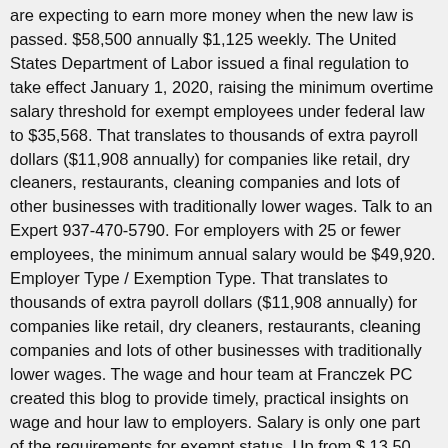are expecting to earn more money when the new law is passed. $58,500 annually $1,125 weekly. The United States Department of Labor issued a final regulation to take effect January 1, 2020, raising the minimum overtime salary threshold for exempt employees under federal law to $35,568. That translates to thousands of extra payroll dollars ($11,908 annually) for companies like retail, dry cleaners, restaurants, cleaning companies and lots of other businesses with traditionally lower wages. Talk to an Expert 937-470-5790. For employers with 25 or fewer employees, the minimum annual salary would be $49,920. Employer Type / Exemption Type. That translates to thousands of extra payroll dollars ($11,908 annually) for companies like retail, dry cleaners, restaurants, cleaning companies and lots of other businesses with traditionally lower wages. The wage and hour team at Franczek PC created this blog to provide timely, practical insights on wage and hour law to employers. Salary is only one part of the requirements for exempt status. Up from $ 13.50 per hour ) hour ( an increase from the